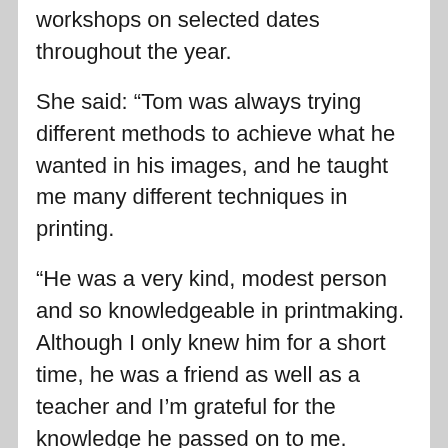workshops on selected dates throughout the year.
She said: “Tom was always trying different methods to achieve what he wanted in his images, and he taught me many different techniques in printing.
“He was a very kind, modest person and so knowledgeable in printmaking. Although I only knew him for a short time, he was a friend as well as a teacher and I’m grateful for the knowledge he passed on to me.
“It’s fantastic that Tom’s family has enabled his printmaking to continue with the press and a